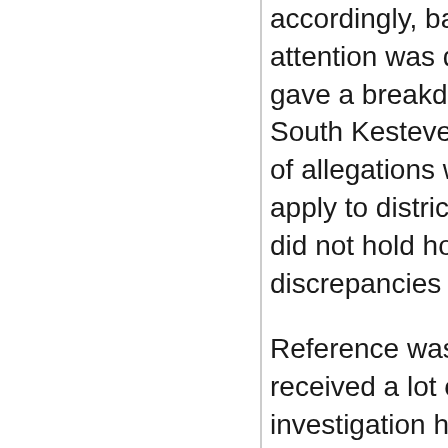accordingly, based on the information provided.  Member attention was drawn to paragraph 4.5 of the report which gave a breakdown of the type of allegations received for South Kesteven for 2021/22.  As a housing authority 41% of allegations were in relation to housing stock, this did not apply to districts such as East Lindsey and Boston as they did not hold housing stock and highlighted some of the discrepancies between the figures reported.
Reference was then made to the fuel theft which had received a lot of media coverage.  Whilst the Police investigation had taken place the Council had been asked not to discuss the matter in public.  Following the conclusion of the police investigation a summary of the allegation, the investigation